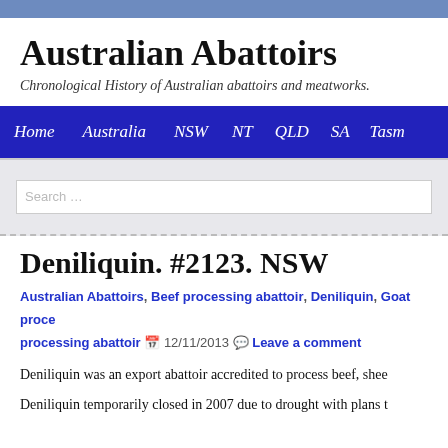Australian Abattoirs
Chronological History of Australian abattoirs and meatworks.
Home   Australia   NSW   NT   QLD   SA   Tasm
Deniliquin. #2123. NSW
Australian Abattoirs, Beef processing abattoir, Deniliquin, Goat processing abattoir   12/11/2013   Leave a comment
Deniliquin was an export abattoir accredited to process beef, shee
Deniliquin temporarily closed in 2007 due to drought with plans t